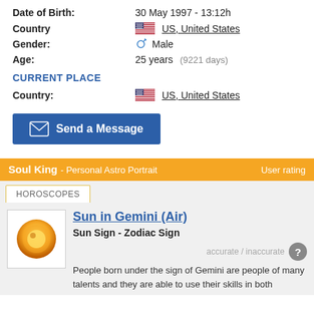Date of Birth: 30 May 1997 - 13:12h
Country: US, United States
Gender: Male
Age: 25 years (9221 days)
CURRENT PLACE
Country: US, United States
Send a Message
Soul King - Personal Astro Portrait | User rating
HOROSCOPES
[Figure (illustration): Sun in Gemini zodiac symbol icon - golden sun graphic]
Sun in Gemini (Air) - Sun Sign - Zodiac Sign - accurate / inaccurate - People born under the sign of Gemini are people of many talents and they are able to use their skills in both